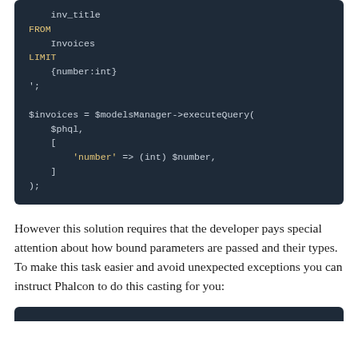[Figure (screenshot): Code block showing PHP/PHQL snippet with inv_title, FROM Invoices, LIMIT {number:int}, closing quote and semicolon, then $invoices = $modelsManager->executeQuery( $phql, [ 'number' => (int) $number, ] );]
However this solution requires that the developer pays special attention about how bound parameters are passed and their types. To make this task easier and avoid unexpected exceptions you can instruct Phalcon to do this casting for you:
[Figure (screenshot): Beginning of another code block (dark background, cut off at bottom of page)]